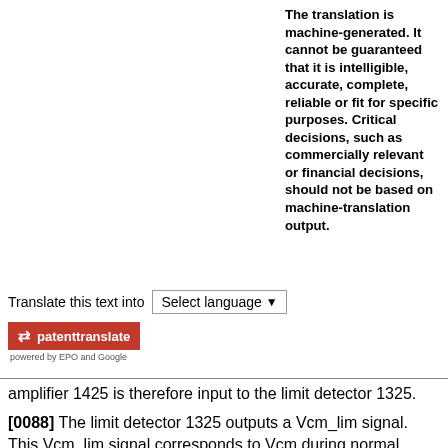The translation is machine-generated. It cannot be guaranteed that it is intelligible, accurate, complete, reliable or fit for specific purposes. Critical decisions, such as commercially relevant or financial decisions, should not be based on machine-translation output.
Translate this text into [Select language]
[Figure (logo): patenttranslate button logo with red background, arrows icon, and text 'powered by EPO and Google']
amplifier 1425 is therefore input to the limit detector 1325.
[0088] The limit detector 1325 outputs a Vcm_lim signal. This Vcm_lim signal corresponds to Vcm during normal operation, but when the output of the auxiliary voltage